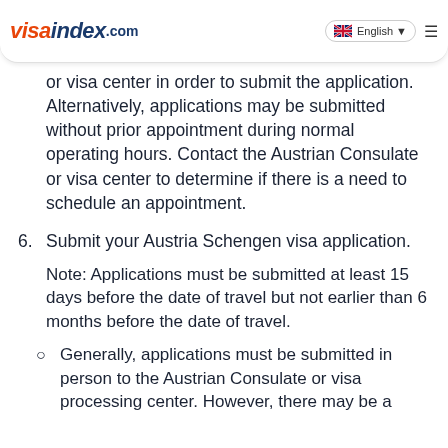visaindex.com | English
or visa center in order to submit the application. Alternatively, applications may be submitted without prior appointment during normal operating hours. Contact the Austrian Consulate or visa center to determine if there is a need to schedule an appointment.
6. Submit your Austria Schengen visa application.
Note: Applications must be submitted at least 15 days before the date of travel but not earlier than 6 months before the date of travel.
Generally, applications must be submitted in person to the Austrian Consulate or visa processing center. However, there may be a